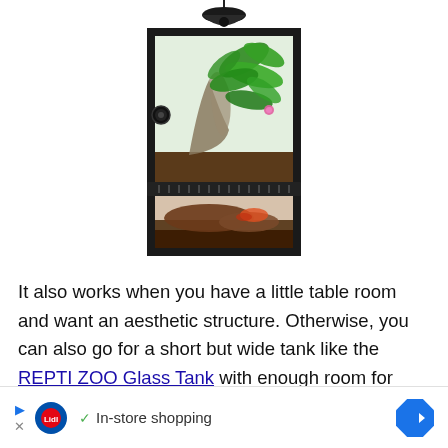[Figure (photo): A glass terrarium/reptile tank with black frame, a hanging lamp on top, green plants and branches inside, substrate on the bottom, and a side ventilation grill in the middle.]
It also works when you have a little table room and want an aesthetic structure. Otherwise, you can also go for a short but wide tank like the REPTI ZOO Glass Tank with enough room for your T to play around. There are more designs in the market that you can
[Figure (other): Advertisement banner: Lidl logo with play/close buttons on left, checkmark and 'In-store shopping' text, blue diamond arrow navigation button on right.]